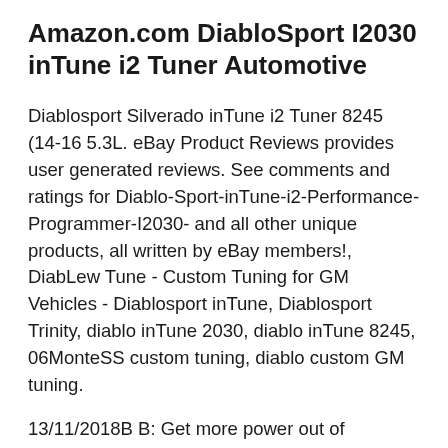Amazon.com DiabloSport I2030 inTune i2 Tuner Automotive
Diablosport Silverado inTune i2 Tuner 8245 (14-16 5.3L. eBay Product Reviews provides user generated reviews. See comments and ratings for Diablo-Sport-inTune-i2-Performance-Programmer-I2030- and all other unique products, all written by eBay members!, DiabLew Tune - Custom Tuning for GM Vehicles - Diablosport inTune, Diablosport Trinity, diablo inTune 2030, diablo inTune 8245, 06MonteSS custom tuning, diablo custom GM tuning.
13/11/2018B B: Get more power out of